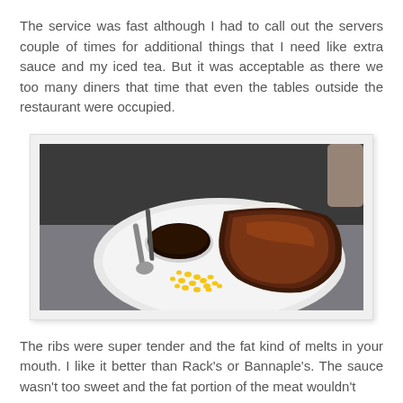The service was fast although I had to call out the servers couple of times for additional things that I need like extra sauce and my iced tea. But it was acceptable as there we too many diners that time that even the tables outside the restaurant were occupied.
[Figure (photo): A plate of BBQ ribs with corn kernels, a small bowl of dark sauce with a spoon, and a mound of white rice on a white plate, photographed indoors.]
The ribs were super tender and the fat kind of melts in your mouth. I like it better than Rack's or Bannaple's. The sauce wasn't too sweet and the fat portion of the meat wouldn't